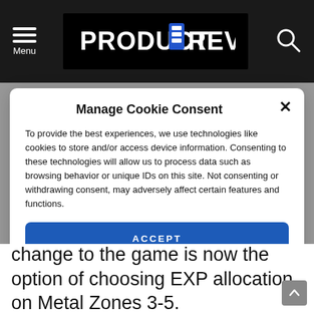PRODUCT REVIEWS
Manage Cookie Consent
To provide the best experiences, we use technologies like cookies to store and/or access device information. Consenting to these technologies will allow us to process data such as browsing behavior or unique IDs on this site. Not consenting or withdrawing consent, may adversely affect certain features and functions.
ACCEPT
VIEW PREFERENCES
Cookie Policy  Privacy Policy
change to the game is now the option of choosing EXP allocation on Metal Zones 3-5.